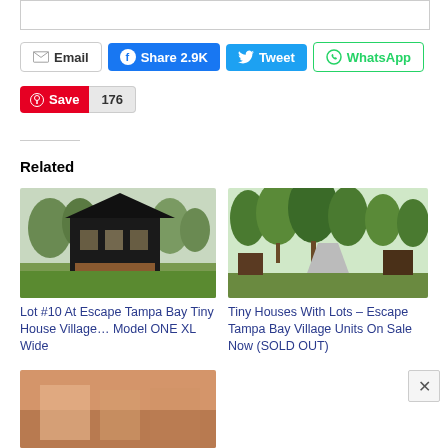[Figure (screenshot): Top partial box element, white rectangle with border]
Email | Share 2.9K | Tweet | WhatsApp
Save 176
Related
[Figure (photo): Lot #10 At Escape Tampa Bay Tiny House Village – dark modern tiny house with large windows surrounded by trees and grass]
Lot #10 At Escape Tampa Bay Tiny House Village… Model ONE XL Wide
[Figure (photo): Tiny Houses With Lots – Escape Tampa Bay Village – tree-lined driveway with small structures visible]
Tiny Houses With Lots – Escape Tampa Bay Village Units On Sale Now (SOLD OUT)
[Figure (photo): Partial view of a third related article image, warm toned interior or exterior photo]